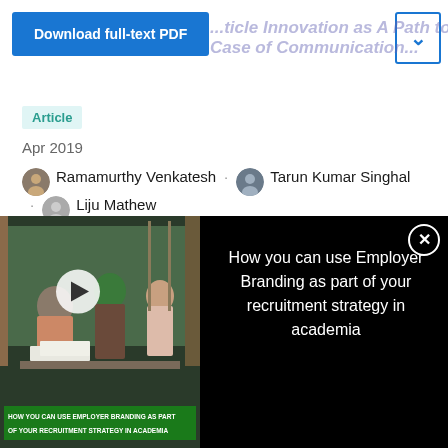[Figure (screenshot): Download full-text PDF button (blue) and dropdown chevron button]
...ticle Innovation as A Path to Case of Communication...
Article
Apr 2019
Ramamurthy Venkatesh · Tarun Kumar Singhal · Liju Mathew
View    Show abstract
[Figure (screenshot): Video thumbnail showing students in a library with play button overlay and text: HOW YOU CAN USE EMPLOYER BRANDING AS PART OF YOUR RECRUITMENT STRATEGY IN ACADEMIA]
How you can use Employer Branding as part of your recruitment strategy in academia